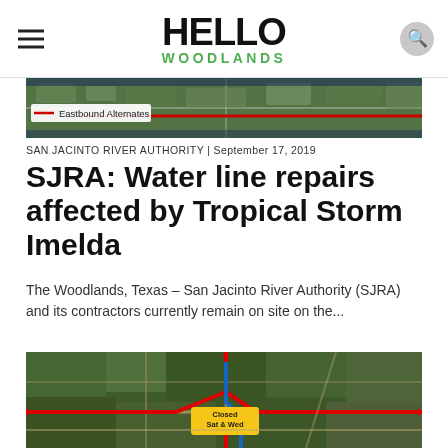HELLO WOODLANDS
[Figure (map): Aerial map showing Eastbound Alternates route with a red line overlay]
SAN JACINTO RIVER AUTHORITY | September 17, 2019
SJRA: Water line repairs affected by Tropical Storm Imelda
The Woodlands, Texas – San Jacinto River Authority (SJRA) and its contractors currently remain on site on the...
[Figure (map): Aerial satellite map of The Woodlands area showing road closures and detour routes marked in red and blue, with a yellow label reading 'Closed Sat & Wed']